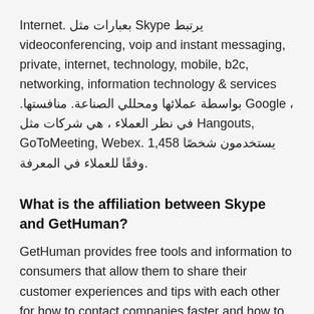Internet. بعبارات مثل Skype يرتبط videoconferencing, voip and instant messaging, private, internet, technology, mobile, b2c, networking, information technology & services .بواسطة عملائها ومحللي الصناعة. منافستها Google ، في نظر العملاء ، هي شركات مثل Hangouts, GoToMeeting, Webex. 1,458 يستخدمون شخصًا وفقًا للعملاء في المعرفة.
What is the affiliation between Skype and GetHuman?
GetHuman provides free tools and information to consumers that allow them to share their customer experiences and tips with each other for how to contact companies faster and how to solve common problems. GetHuman's relationship is with